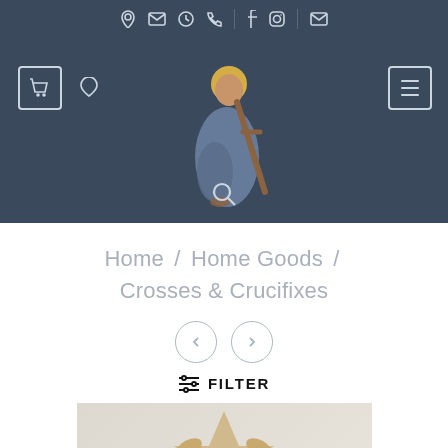Navigation icons: location, email, clock, phone, facebook, instagram, email
[Figure (screenshot): E-commerce website header with dark blue-grey background, showing a religious figure/logo (Jesus carrying cross with halo), shopping cart icon with 0, heart icon, hamburger menu, and search icon]
Home / Home Goods / Crosses & Crucifixes
[Figure (other): Previous and next navigation arrows in circular outline buttons]
≡ FILTER
[Figure (photo): Wooden cross/crucifix product thumbnail on grey background]